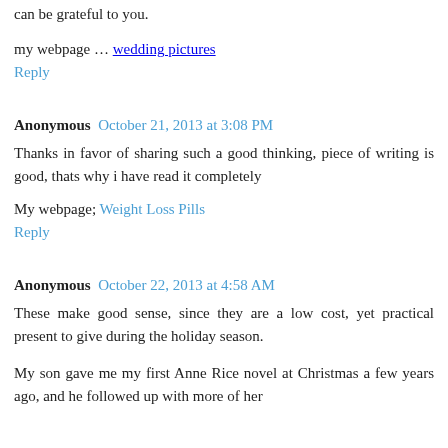can be grateful to you.
my webpage ... wedding pictures
Reply
Anonymous  October 21, 2013 at 3:08 PM
Thanks in favor of sharing such a good thinking, piece of writing is good, thats why i have read it completely
My webpage; Weight Loss Pills
Reply
Anonymous  October 22, 2013 at 4:58 AM
These make good sense, since they are a low cost, yet practical present to give during the holiday season.
My son gave me my first Anne Rice novel at Christmas a few years ago, and he followed up with more of her